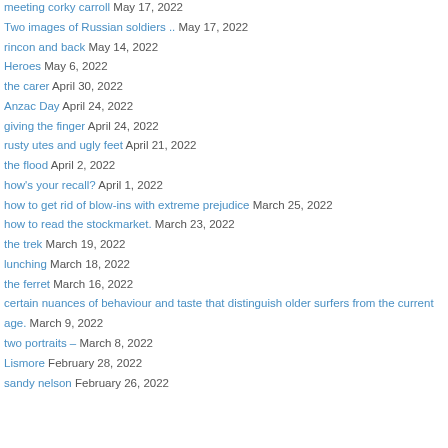meeting corky carroll May 17, 2022
Two images of Russian soldiers .. May 17, 2022
rincon and back May 14, 2022
Heroes May 6, 2022
the carer April 30, 2022
Anzac Day April 24, 2022
giving the finger April 24, 2022
rusty utes and ugly feet April 21, 2022
the flood April 2, 2022
how's your recall? April 1, 2022
how to get rid of blow-ins with extreme prejudice March 25, 2022
how to read the stockmarket. March 23, 2022
the trek March 19, 2022
lunching March 18, 2022
the ferret March 16, 2022
certain nuances of behaviour and taste that distinguish older surfers from the current age. March 9, 2022
two portraits – March 8, 2022
Lismore February 28, 2022
sandy nelson February 26, 2022